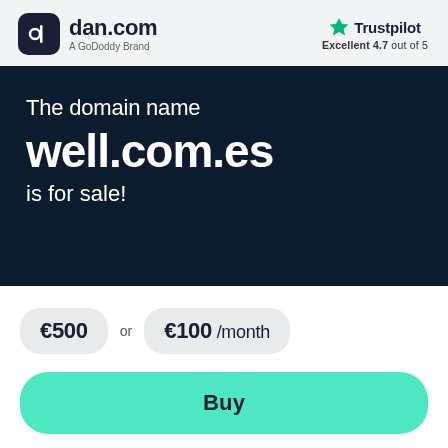[Figure (logo): dan.com logo — dark rounded square icon with white 'd' symbol, followed by 'dan.com' in bold dark text and 'A GoDoddy Brand' subtitle]
[Figure (logo): Trustpilot logo — green star icon and 'Trustpilot' text with 'Excellent 4.7 out of 5' rating below]
The domain name well.com.es is for sale!
€500 or €100 /month
Buy